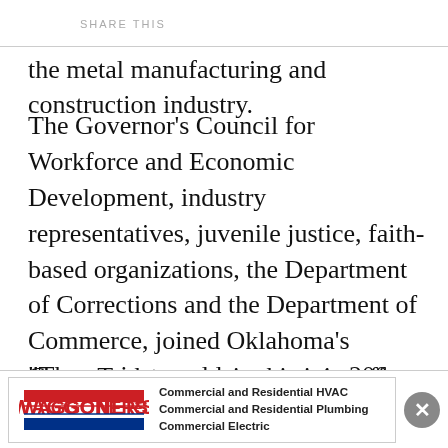SHARE THIS
the metal manufacturing and construction industry.
The Governor's Council for Workforce and Economic Development, industry representatives, juvenile justice, faith-based organizations, the Department of Corrections and the Department of Commerce, joined Oklahoma's CareerTech system in this joint effort, according to Dom Garrison, superintendent of the CareerTech Skills Centers School System.
"The project could serve up to 200 young Oklahomans from 16 to 21 years of age during the
[Figure (other): Waggoners advertisement banner with logo and text: Commercial and Residential HVAC, Commercial and Residential Plumbing, Commercial Electric]